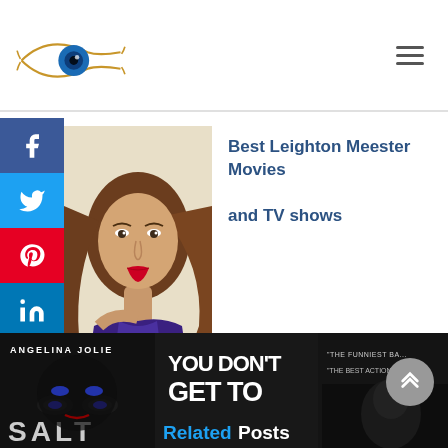Website header with eye logo and hamburger menu
[Figure (photo): Leighton Meester portrait photo - woman with brown hair, red lips, wearing purple dress]
Best Leighton Meester Movies and TV shows
[Figure (photo): Bottom strip showing movie posters: Salt (Angelina Jolie), The Social Network (You Don't Get To), and a third movie. Related Posts overlay text shown at bottom center. Scroll-up button visible.]